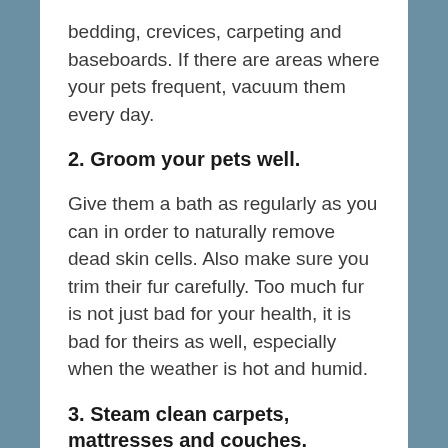bedding, crevices, carpeting and baseboards. If there are areas where your pets frequent, vacuum them every day.
2. Groom your pets well.
Give them a bath as regularly as you can in order to naturally remove dead skin cells. Also make sure you trim their fur carefully. Too much fur is not just bad for your health, it is bad for theirs as well, especially when the weather is hot and humid.
3. Steam clean carpets, mattresses and couches.